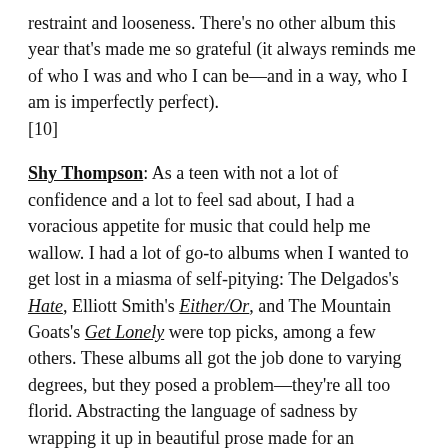restraint and looseness. There's no other album this year that's made me so grateful (it always reminds me of who I was and who I can be—and in a way, who I am is imperfectly perfect).
[10]
Shy Thompson: As a teen with not a lot of confidence and a lot to feel sad about, I had a voracious appetite for music that could help me wallow. I had a lot of go-to albums when I wanted to get lost in a miasma of self-pitying: The Delgados's Hate, Elliott Smith's Either/Or, and The Mountain Goats's Get Lonely were top picks, among a few others. These albums all got the job done to varying degrees, but they posed a problem—they're all too florid. Abstracting the language of sadness by wrapping it up in beautiful prose made for an emotional experience, but not much of an introspective